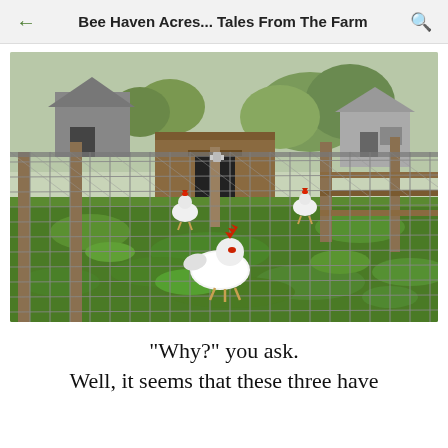Bee Haven Acres... Tales From The Farm
[Figure (photo): Three white roosters/chickens with red combs inside a wire mesh chicken run enclosure. The enclosure has wooden posts and wire mesh fencing. Inside is lush green vegetation/clover ground cover. In the background is a chicken coop structure, trees, a grey barn/shed, and wooden fence rails. The photo is taken from just outside the wire mesh looking in.]
"Why?" you ask.
Well, it seems that these three have